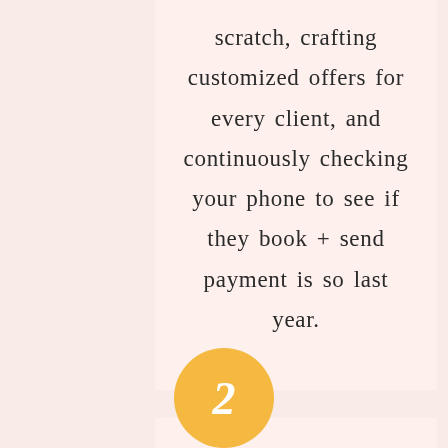scratch, crafting customized offers for every client, and continuously checking your phone to see if they book + send payment is so last year.
[Figure (illustration): Orange/yellow circular badge with white italic number 2 in the center]